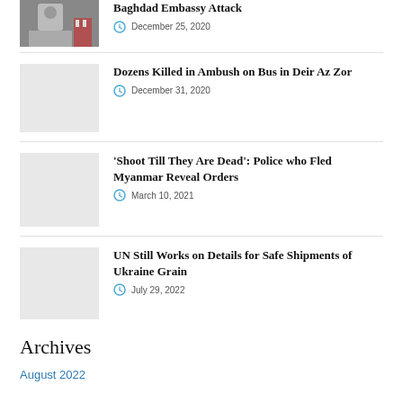[Figure (photo): Man in suit photo thumbnail for Baghdad Embassy Attack article]
Baghdad Embassy Attack
December 25, 2020
[Figure (photo): Gray placeholder thumbnail for Dozens Killed article]
Dozens Killed in Ambush on Bus in Deir Az Zor
December 31, 2020
[Figure (photo): Gray placeholder thumbnail for Shoot Till They Are Dead article]
'Shoot Till They Are Dead': Police who Fled Myanmar Reveal Orders
March 10, 2021
[Figure (photo): Gray placeholder thumbnail for UN Still Works article]
UN Still Works on Details for Safe Shipments of Ukraine Grain
July 29, 2022
Archives
August 2022